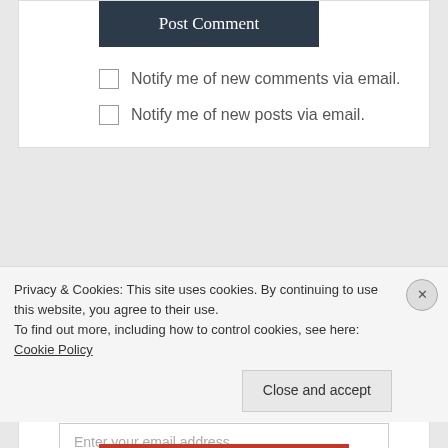[Figure (screenshot): Post Comment button, dark navy blue background with white text]
Notify me of new comments via email.
Notify me of new posts via email.
FOLLOW BLOG VIA EMAIL
Enter your email address to follow this blog and receive notifications of new posts by email.
Enter your email address
[Figure (screenshot): Follow button, dark navy blue]
Privacy & Cookies: This site uses cookies. By continuing to use this website, you agree to their use.
To find out more, including how to control cookies, see here: Cookie Policy
Close and accept